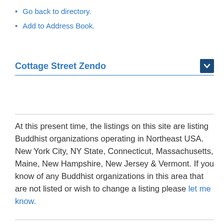Go back to directory.
Add to Address Book.
Cottage Street Zendo
At this present time, the listings on this site are listing Buddhist organizations operating in Northeast USA. New York City, NY State, Connecticut, Massachusetts, Maine, New Hampshire, New Jersey & Vermont. If you know of any Buddhist organizations in this area that are not listed or wish to change a listing please let me know.